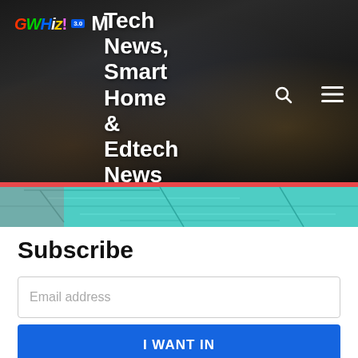[Figure (screenshot): Website header with dark city aerial background. Top-left shows G-Whiz logo with colorful stylized text and an M icon. Large white bold text reads: Tech News, Smart Home & Edtech News. Search and hamburger menu icons on the right.]
[Figure (photo): Teal/turquoise circuit board or technology-themed image strip at the bottom of the hero banner.]
Subscribe
Email address
I WANT IN